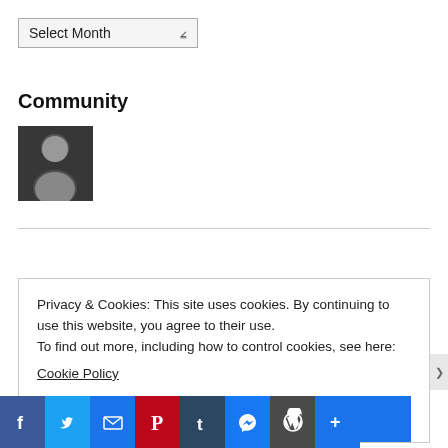Select Month
Community
[Figure (photo): Avatar photo of a person with glasses sitting in a car]
RSS - Posts
Privacy & Cookies: This site uses cookies. By continuing to use this website, you agree to their use.
To find out more, including how to control cookies, see here:
Cookie Policy
Close and accept
[Figure (infographic): Social share bar with Facebook, Twitter, Email, Pinterest, Tumblr, Messenger, WordPress, and More buttons]